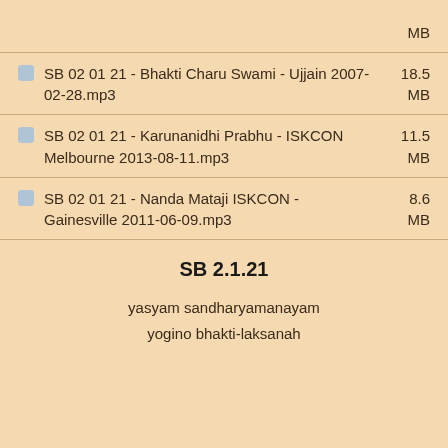SB 02 01 21 - Bhakti Charu Swami - Ujjain 2007-02-28.mp3  18.5 MB
SB 02 01 21 - Karunanidhi Prabhu - ISKCON Melbourne 2013-08-11.mp3  11.5 MB
SB 02 01 21 - Nanda Mataji ISKCON - Gainesville 2011-06-09.mp3  8.6 MB
SB 2.1.21
yasyam sandharyamanayam
yogino bhakti-laksanah